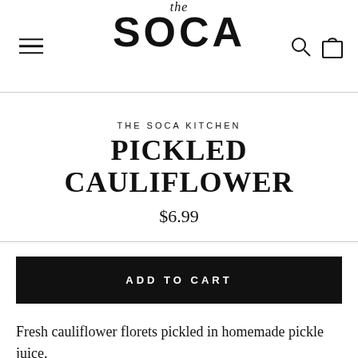[Figure (logo): The SOCA logo with 'the' in italic script above large bold uppercase SOCA text]
THE SOCA KITCHEN
PICKLED CAULIFLOWER
$6.99
ADD TO CART
Fresh cauliflower florets pickled in homemade pickle juice.